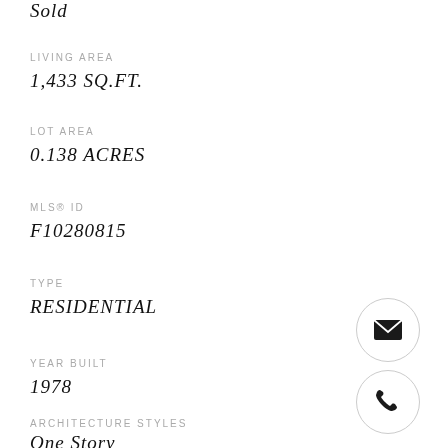Sold
LIVING AREA
1,433 SQ.FT.
LOT AREA
0.138 ACRES
MLS® ID
F10280815
TYPE
RESIDENTIAL
[Figure (illustration): Email icon inside a circle]
YEAR BUILT
1978
[Figure (illustration): Phone icon inside a circle]
ARCHITECTURE STYLES
One Story